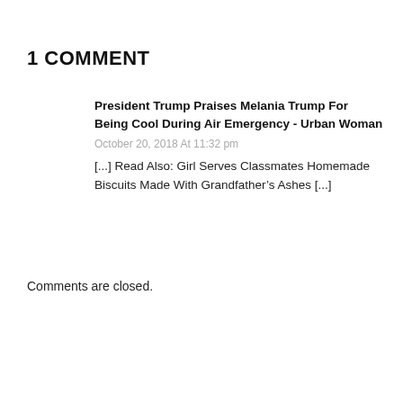1 COMMENT
President Trump Praises Melania Trump For Being Cool During Air Emergency - Urban Woman
October 20, 2018 At 11:32 pm
[...] Read Also: Girl Serves Classmates Homemade Biscuits Made With Grandfather’s Ashes [...]
Comments are closed.